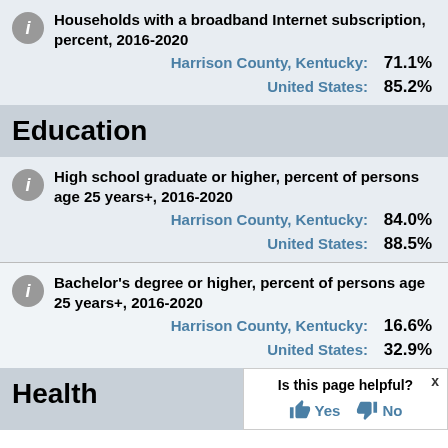Households with a broadband Internet subscription, percent, 2016-2020
Harrison County, Kentucky: 71.1%
United States: 85.2%
Education
High school graduate or higher, percent of persons age 25 years+, 2016-2020
Harrison County, Kentucky: 84.0%
United States: 88.5%
Bachelor's degree or higher, percent of persons age 25 years+, 2016-2020
Harrison County, Kentucky: 16.6%
United States: 32.9%
Health
Is this page helpful? Yes No